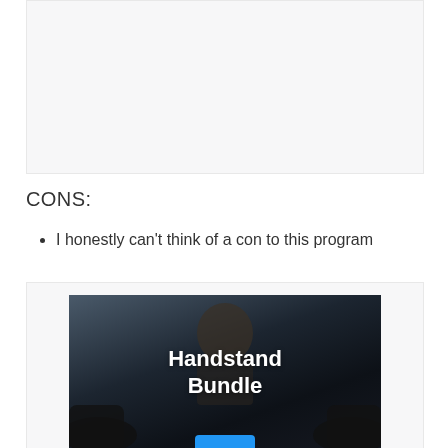[Figure (other): Empty light gray box representing an image placeholder at the top of the page]
CONS:
I honestly can't think of a con to this program
[Figure (photo): Photo of a bald bearded man doing a handstand or gymnastics move on a dark background, with white bold text overlay reading 'Handstand Bundle' and a blue button partially visible at the bottom]